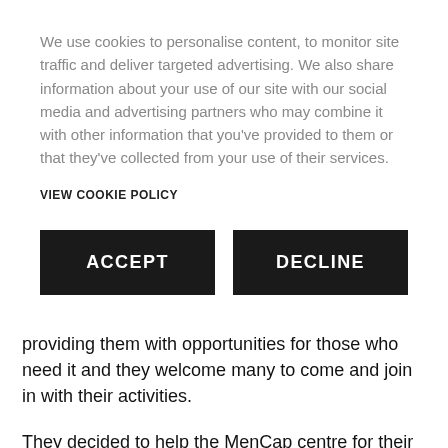We use cookies to personalise content, to monitor site traffic and deliver targeted advertising. We also share information about your use of our site with our social media and advertising partners who may combine it with other information that you've provided to them or that they've collected from your use of their services.
VIEW COOKIE POLICY
ACCEPT
DECLINE
providing them with opportunities for those who need it and they welcome many to come and join in with their activities.
They decided to help the MenCap centre for their community project, as they are in the process of opening a gaming suite next to their current centre. The team have spent the last couple of weeks working hard to decorate